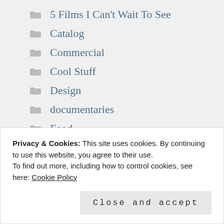5 Films I Can't Wait To See
Catalog
Commercial
Cool Stuff
Design
documentaries
Food
Furniture
Hello Kitty
Privacy & Cookies: This site uses cookies. By continuing to use this website, you agree to their use.
To find out more, including how to control cookies, see here: Cookie Policy
Close and accept
Totoro